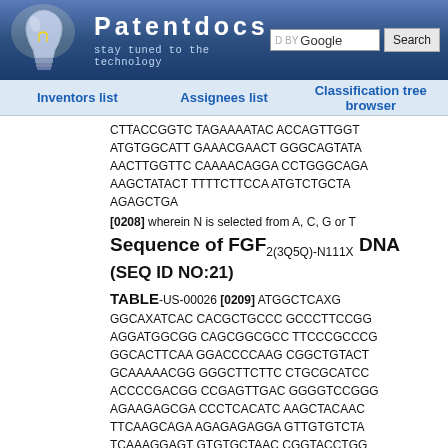Patentdocs - stay tuned to the technology
Inventors list | Assignees list | Classification tree browser
CTTACCGGTC TAGAAAATAC ACCAGTTGGT ATGTGGCATT GAAACGAACT GGGCAGTATA AACTTGGTTC CAAAACAGGA CCTGGGCAGA AAGCTATACT TTTTCTTCCA ATGTCTGCTA AGAGCTGA
[0208] wherein N is selected from A, C, G or T
Sequence of FGF2(3Q5Q)-N111X DNA (SEQ ID NO:21)
TABLE-US-00026 [0209] ATGGCTCAXG GGCAXATCAC CACGCTGCCC GCCCTTCCGG AGGATGGCGG CAGCGGCGCC TTCCCGCCCG GGCACTTCAA GGACCCCAAG CGGCTGTACT GCAAAAACGG GGGCTTCTTC CTGCGCATCC ACCCCGACGG CCGAGTTGAC GGGGTCCGGG AGAAGAGCGA CCCTCACATC AAGCTACAAC TTCAAGCAGA AGAGAGAGGA GTTGTGTCTA TCAAAGGAGT GTGTGCTAAC CGGTACCTGG CTATGAAGGA AGAGAGAGGA TTACTGGCTT